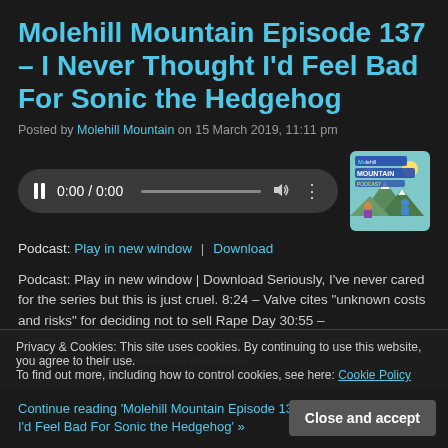Molehill Mountain Episode 137 – I Never Thought I'd Feel Bad For Sonic the Hedgehog
Posted by Molehill Mountain on 15 March 2019, 11:11 pm
[Figure (screenshot): Audio player widget with pause button, time display 0:00 / 0:00, progress bar, volume icon, and more options icon]
[Figure (illustration): Molehill Mountain Podcast logo thumbnail]
Podcast: Play in new window | Download
Podcast: Play in new window | Download Seriously, I've never cared for the series but this is just cruel. 8:24 – Valve cites "unknown costs and risks" for deciding not to sell Rape Day 30:55 – Nintendo announces Labo VR with a web page but no video 44:46 – Nintendo does not want to maximize
Privacy & Cookies: This site uses cookies. By continuing to use this website, you agree to their use. To find out more, including how to control cookies, see here: Cookie Policy
Continue reading 'Molehill Mountain Episode 137 – I Never Thought I'd Feel Bad For Sonic the Hedgehog' »
Close and accept